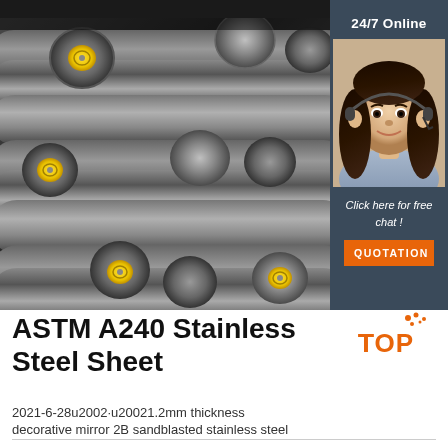[Figure (photo): Stack of large metal/steel round bars with yellow end caps, stored in an industrial warehouse setting.]
[Figure (photo): Customer service agent (woman with headset, smiling) with '24/7 Online' text and 'Click here for free chat!' text above an orange QUOTATION button, shown in a dark blue sidebar panel.]
ASTM A240 Stainless Steel Sheet
2021-6-28u2002·u20021.2mm thickness
decorative mirror 2B sandblasted stainless steel